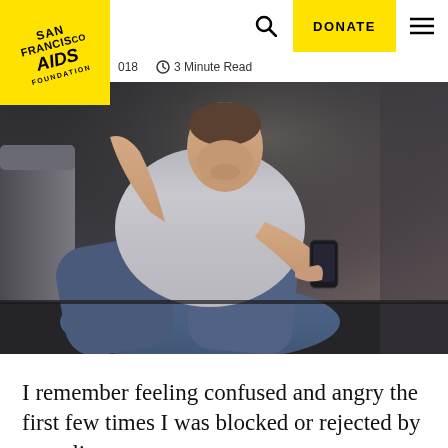SAN FRANCISCO AIDS FOUNDATION | DONATE
018   3 Minute Read
[Figure (photo): Man sitting on floor leaning against a couch, holding a smartphone, looking distressed or concerned]
I remember feeling confused and angry the first few times I was blocked or rejected by an online